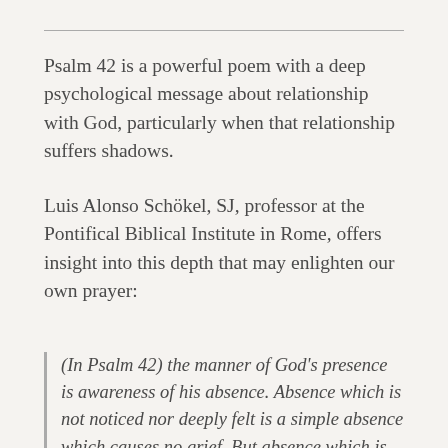Psalm 42 is a powerful poem with a deep psychological message about relationship with God, particularly when that relationship suffers shadows.
Luis Alonso Schökel, SJ, professor at the Pontifical Biblical Institute in Rome, offers insight into this depth that may enlighten our own prayer:
(In Psalm 42) the manner of God's presence is awareness of his absence. Absence which is not noticed nor deeply felt is a simple absence which causes no grief. But absence which is